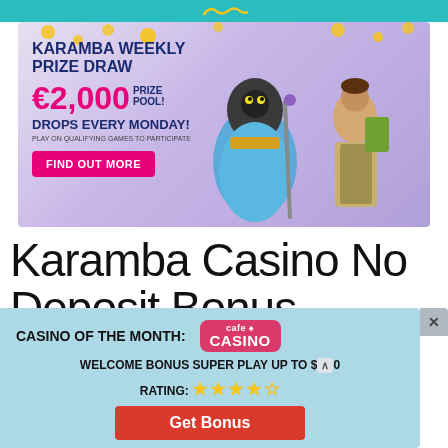[Figure (illustration): Karamba casino promotional banner with colorful parrot mascot and adventurer character. Text reads: KARAMBA WEEKLY PRIZE DRAW €2,000 PRIZE POOL! DROPS EVERY MONDAY! PLAY ON QUALIFYING GAMES TO PARTICIPATE. Pink button: FIND OUT MORE.]
Karamba Casino No Deposit Bonus
[Figure (infographic): Light blue popup overlay showing: CASINO OF THE MONTH: Cafe Casino logo. WELCOME BONUS SUPER PLAY UP TO $[amount]. RATING: 4 stars. Red Get Bonus button. X close button.]